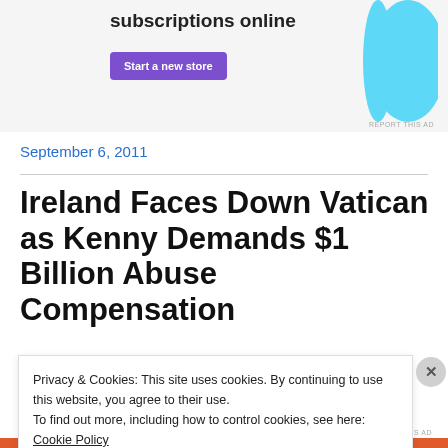[Figure (other): Advertisement banner with purple 'Start a new store' button, bold heading text 'subscriptions online', and a light blue decorative graphic shape on the right side.]
September 6, 2011
Ireland Faces Down Vatican as Kenny Demands $1 Billion Abuse Compensation
Privacy & Cookies: This site uses cookies. By continuing to use this website, you agree to their use.
To find out more, including how to control cookies, see here: Cookie Policy
Close and accept